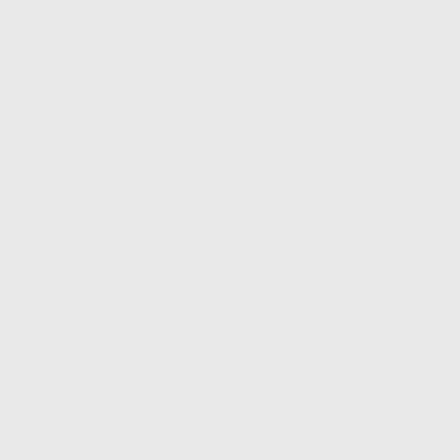| Date | Track | CC | Time |
| --- | --- | --- | --- |
| 2017-06-08 | Wii Wario's Gold Mine | 150cc | 2'03" |
| 2017-06-24 | Thwomp Ruins | 150cc | 1'52" |
| 2017-06-25 | Thwomp Ruins | 150cc | 1'52" |
| 2017-06-25 | Thwomp Ruins | 150cc | 1'52" |
| 2017-06-26 | Thwomp Ruins | 150cc | 1'52" |
| 2017-06-26 | Thwomp Ruins | 150cc | 1'52" |
| 2017-07-04 | Toad Harbor | 150cc | 2'04" |
| 2017-07-05 | Toad Harbor | 150cc | 2'04" |
| 2017-07-19 | Wii Grumble Volcano | 150cc | 1'56" |
| 2017-07-19 | Wii Grumble Volcano | 150cc | 1'56" |
| 2017-08-29 | Wii Wario's Gold Mine | 150cc | 2'03" |
|  | Wii |  |  |